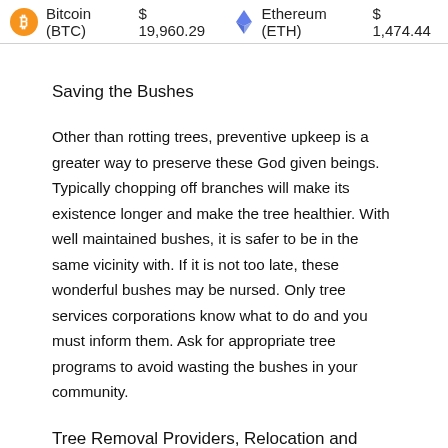Bitcoin (BTC)  $ 19,960.29    Ethereum (ETH)  $ 1,474.44
Saving the Bushes
Other than rotting trees, preventive upkeep is a greater way to preserve these God given beings. Typically chopping off branches will make its existence longer and make the tree healthier. With well maintained bushes, it is safer to be in the same vicinity with. If it is not too late, these wonderful bushes may be nursed. Only tree services corporations know what to do and you must inform them. Ask for appropriate tree programs to avoid wasting the bushes in your community.
Tree Removal Providers, Relocation and Stump Grinding
Another reason for tree removal services professionals is if you need to switch a tree from one location to another. Allow us to say you want to bring with you your tree from your old dwelling to your new home